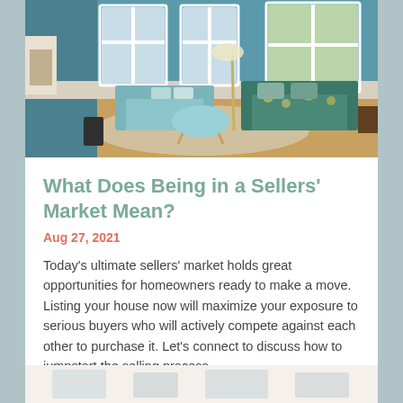[Figure (photo): Interior living room with teal walls, large windows letting in natural light, a teal floral sofa on the right, a light blue sofa on the left, a round coffee table, and hardwood floors with a patterned rug.]
What Does Being in a Sellers' Market Mean?
Aug 27, 2021
Today's ultimate sellers' market holds great opportunities for homeowners ready to make a move. Listing your house now will maximize your exposure to serious buyers who will actively compete against each other to purchase it. Let's connect to discuss how to jumpstart the selling process.
[Figure (photo): Partial view of another interior room photo at the bottom of the page, showing what appears to be a bright white room.]